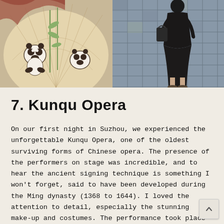[Figure (photo): Close-up of a decorative fan with panda illustrations on a lace-like background, held by a person with red hair]
[Figure (photo): Person in black dress and carrying a bag walking away on stone-paved path or courtyard]
7. Kunqu Opera
On our first night in Suzhou, we experienced the unforgettable Kunqu Opera, one of the oldest surviving forms of Chinese opera. The presence of the performers on stage was incredible, and to hear the ancient signing technique is something I won't forget, said to have been developed during the Ming dynasty (1368 to 1644). I loved the attention to detail, especially the stunning make-up and costumes. The performance took place at the Master of Nets Garden, which dates back to 1140. We also